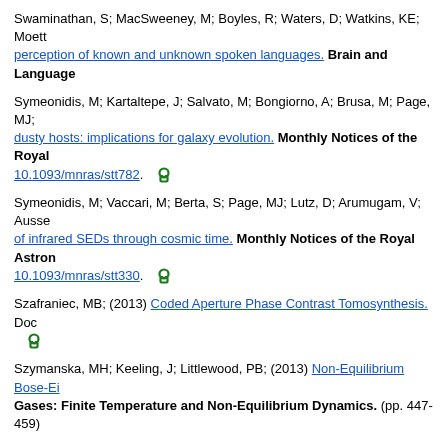Swaminathan, S; MacSweeney, M; Boyles, R; Waters, D; Watkins, KE; Moett... perception of known and unknown spoken languages. Brain and Language
Symeonidis, M; Kartaltepe, J; Salvato, M; Bongiorno, A; Brusa, M; Page, MJ; dusty hosts: implications for galaxy evolution. Monthly Notices of the Royal... 10.1093/mnras/stt782.
Symeonidis, M; Vaccari, M; Berta, S; Page, MJ; Lutz, D; Arumugam, V; Ausse... of infrared SEDs through cosmic time. Monthly Notices of the Royal Astron... 10.1093/mnras/stt330.
Szafraniec, MB; (2013) Coded Aperture Phase Contrast Tomosynthesis. Doc...
Szymanska, MH; Keeling, J; Littlewood, PB; (2013) Non-Equilibrium Bose-Ei... Gases: Finite Temperature and Non-Equilibrium Dynamics. (pp. 447-459)
T
Tabassum, F; Batty, GD; (2013) Are Current UK National Institute for Health a... Useful? Cross-Sectional Associations with Cardiovascular Disease Risk Fact... PLoS One , 8 (7) , Article e67764. 10.1371/journal.pone.0067764.